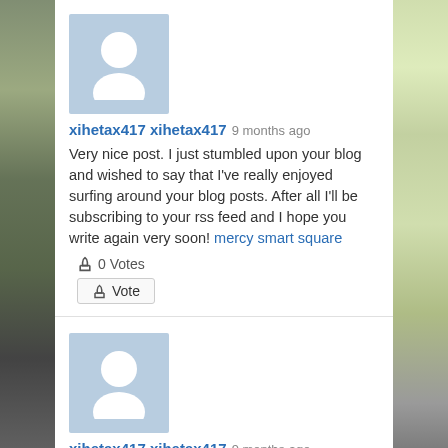[Figure (illustration): Default user avatar: grey-blue square with white silhouette person icon]
xihetax417 xihetax417 9 months ago
Very nice post. I just stumbled upon your blog and wished to say that I've really enjoyed surfing around your blog posts. After all I'll be subscribing to your rss feed and I hope you write again very soon! mercy smart square
👍 0 Votes
👍 Vote
[Figure (illustration): Default user avatar: grey-blue square with white silhouette person icon]
xihetax417 xihetax417 9 months ago
There are very many details this way to consider. This is a great point to raise up. I provide thoughts above as general inspiration but clearly there are questions like the one you bring up where the most important thing will be working in honest good faith.